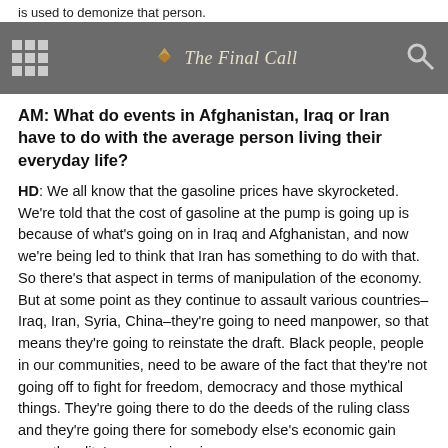is used to demonize that person.
The Final Call
AM: What do events in Afghanistan, Iraq or Iran have to do with the average person living their everyday life?
HD: We all know that the gasoline prices have skyrocketed. We're told that the cost of gasoline at the pump is going up is because of what's going on in Iraq and Afghanistan, and now we're being led to think that Iran has something to do with that. So there's that aspect in terms of manipulation of the economy. But at some point as they continue to assault various countries–Iraq, Iran, Syria, China–they're going to need manpower, so that means they're going to reinstate the draft. Black people, people in our communities, need to be aware of the fact that they're not going off to fight for freedom, democracy and those mythical things. They're going there to do the deeds of the ruling class and they're going there for somebody else's economic gain now–the elite's economic gain.